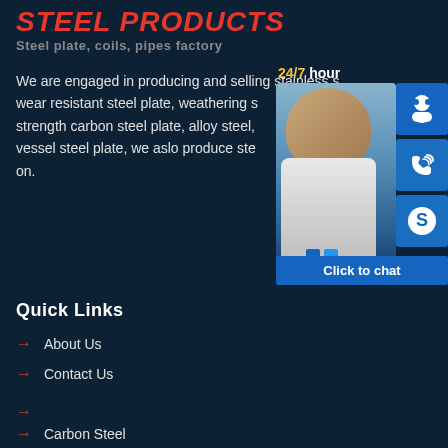STEEL PRODUCTS
Steel plate, coils, pipes factory
We are engaged in producing and selling stainless steel, wear resistant steel plate, weathering steel, high strength carbon steel plate, alloy steel, pressure vessel steel plate, we aslo produce steel... on.
[Figure (screenshot): Chat widget showing 24/7 hour support with photo of customer service representative, three icon buttons (support headset, phone, Skype), and a Click to chat button]
Quick Links
About Us
Contact Us
Carbon Steel